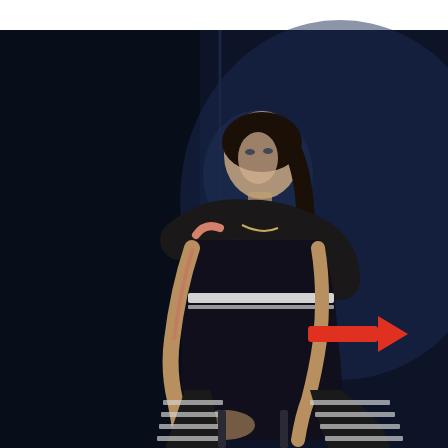[Figure (photo): A young woman with dark hair pulled back, wearing a black lace top with a horizontal reflective/white stripe across the chest, and black and white striped leggings. She is seated and leaning slightly forward with hands resting near her lap. The background is very dark navy/black with a subtle blue-teal glow. A bright red arrow points to the right, aimed at her midsection/waist area, likely highlighting the reflective stripe on the garment.]